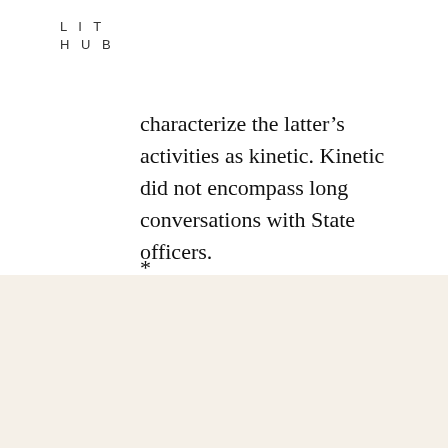LIT
HUB
characterize the latter’s activities as kinetic. Kinetic did not encompass long conversations with State officers.
*
T…
The Best of the Literary Internet, Every Day.
Top literature stories from over 200 sources.